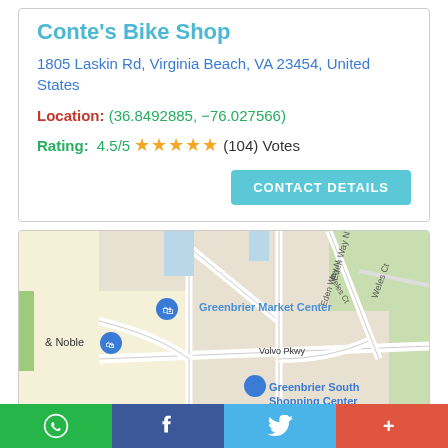Conte's Bike Shop
1805 Laskin Rd, Virginia Beach, VA 23454, United States
Location: (36.8492885, -76.027566)
Rating: 4.5/5 ★★★★★ (104) Votes
CONTACT DETAILS
[Figure (map): Google Maps view showing Greenbrier area of Virginia Beach with landmarks: Greenbrier Market Center, Metro Diner, Barnes & Noble, Rite Aid, Greenbrier South Shopping Center, Greenbrier Country Club, streets including Volvo Pkwy, Eden Way N, Mill Lake Quarter, Weles Ct]
Social share bar: WhatsApp, Facebook, Twitter, More (+)